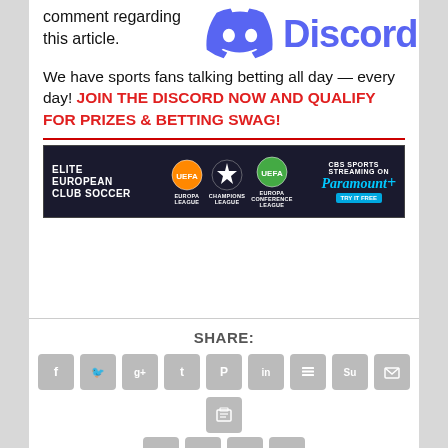comment regarding this article.
[Figure (logo): Discord logo with icon and wordmark in blue/indigo]
We have sports fans talking betting all day — every day! JOIN THE DISCORD NOW AND QUALIFY FOR PRIZES & BETTING SWAG!
[Figure (screenshot): Elite European Club Soccer banner advertisement featuring Europa League, Champions League, Europa Conference League logos and CBS Sports Paramount+ streaming promotion]
SHARE:
[Figure (infographic): Social share buttons: Facebook, Twitter, Google+, Tumblr, Pinterest, LinkedIn, Buffer, StumbleUpon, Email, Print icons in gray rounded squares]